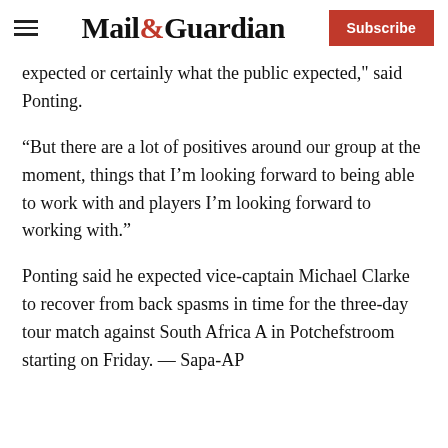Mail&Guardian | Subscribe
expected or certainly what the public expected," said Ponting.
“But there are a lot of positives around our group at the moment, things that I’m looking forward to being able to work with and players I’m looking forward to working with.”
Ponting said he expected vice-captain Michael Clarke to recover from back spasms in time for the three-day tour match against South Africa A in Potchefstroom starting on Friday. — Sapa-AP